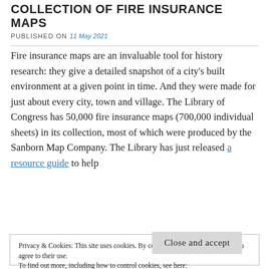COLLECTION OF FIRE INSURANCE MAPS
PUBLISHED ON 11 May 2021
Fire insurance maps are an invaluable tool for history research: they give a detailed snapshot of a city's built environment at a given point in time. And they were made for just about every city, town and village. The Library of Congress has 50,000 fire insurance maps (700,000 individual sheets) in its collection, most of which were produced by the Sanborn Map Company. The Library has just released a resource guide to help
Privacy & Cookies: This site uses cookies. By continuing to use this website, you agree to their use.
To find out more, including how to control cookies, see here:
Cookie Policy
Close and accept